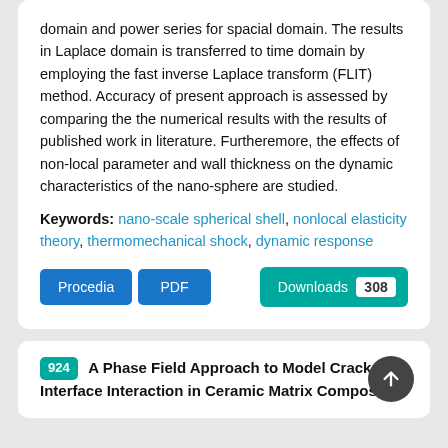domain and power series for spacial domain. The results in Laplace domain is transferred to time domain by employing the fast inverse Laplace transform (FLIT) method. Accuracy of present approach is assessed by comparing the the numerical results with the results of published work in literature. Furtheremore, the effects of non-local parameter and wall thickness on the dynamic characteristics of the nano-sphere are studied.
Keywords: nano-scale spherical shell, nonlocal elasticity theory, thermomechanical shock, dynamic response
Procedia  PDF  Downloads 308
924  A Phase Field Approach to Model Crack Interface Interaction in Ceramic Matrix Composites